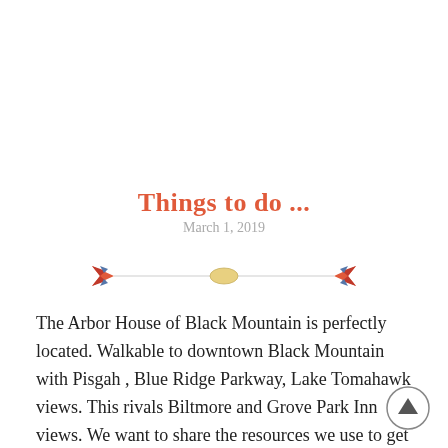Things to do ...
March 1, 2019
[Figure (illustration): Decorative horizontal divider with two red arrow/bird motifs on either side and a small yellow oval in the center, connected by thin lines]
The Arbor House of Black Mountain is perfectly located.  Walkable to downtown Black Mountain with Pisgah , Blue Ridge Parkway, Lake Tomahawk views.  This rivals Biltmore and Grove Park Inn views.    We want to share the resources we use to get up to date information